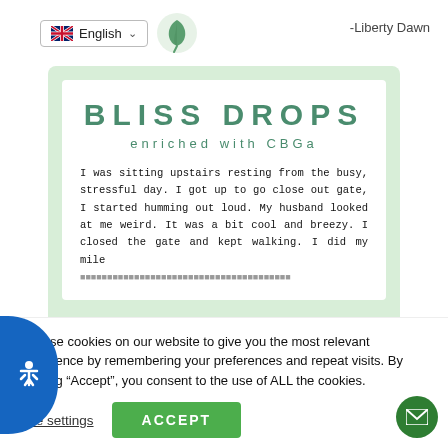English | -Liberty Dawn
[Figure (screenshot): Product card for Bliss Drops enriched with CBGa, with white inner card on light green background, showing product title and customer review text in monospace font.]
BLISS DROPS
enriched with CBGa
I was sitting upstairs resting from the busy, stressful day. I got up to go close out gate, I started humming out loud. My husband looked at me weird. It was a bit cool and breezy. I closed the gate and kept walking. I did my mile
We use cookies on our website to give you the most relevant experience by remembering your preferences and repeat visits. By clicking “Accept”, you consent to the use of ALL the cookies.